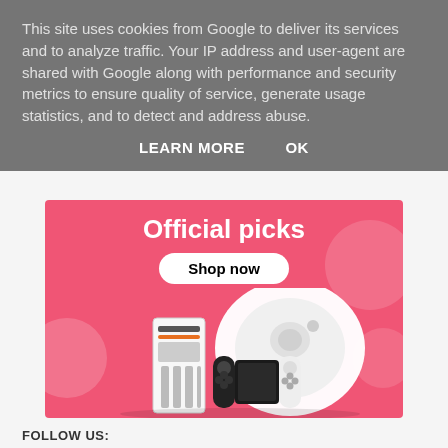This site uses cookies from Google to deliver its services and to analyze traffic. Your IP address and user-agent are shared with Google along with performance and security metrics to ensure quality of service, generate usage statistics, and to detect and address abuse.
LEARN MORE    OK
[Figure (infographic): Pink promotional banner with 'Official picks' heading, 'Shop now' button, and product images including a robot vacuum, gaming console, and Nintendo Switch OLED]
FOLLOW US:
Facebook  Tumblr  Pinterest  Instagram